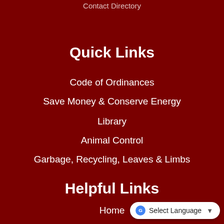Contact Directory
Quick Links
Code of Ordinances
Save Money & Conserve Energy
Library
Animal Control
Garbage, Recycling, Leaves & Limbs
Helpful Links
Home
ADA Compliance
Contact Us
Copyright Notices